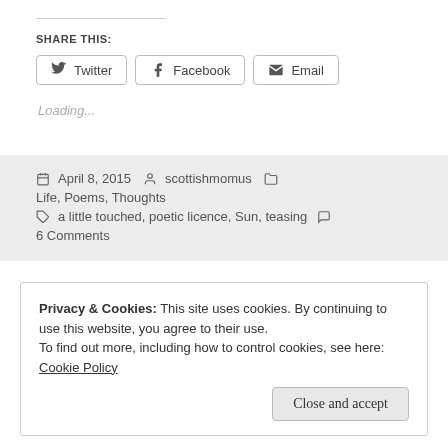SHARE THIS:
Twitter  Facebook  Email
Loading...
April 8, 2015  scottishmomus  Life, Poems, Thoughts  a little touched, poetic licence, Sun, teasing  6 Comments
Privacy & Cookies: This site uses cookies. By continuing to use this website, you agree to their use.
To find out more, including how to control cookies, see here: Cookie Policy
Close and accept